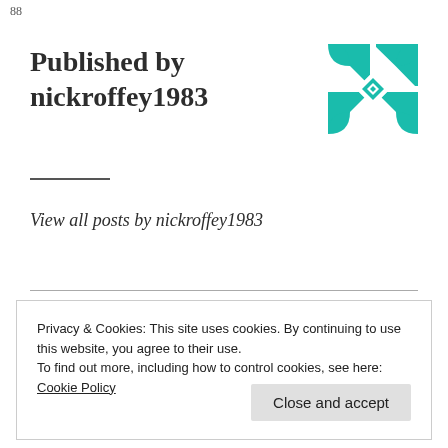88
Published by nickroffey1983
[Figure (illustration): Teal and white geometric/floral square tile pattern logo avatar for nickroffey1983]
View all posts by nickroffey1983
Privacy & Cookies: This site uses cookies. By continuing to use this website, you agree to their use.
To find out more, including how to control cookies, see here: Cookie Policy
Close and accept